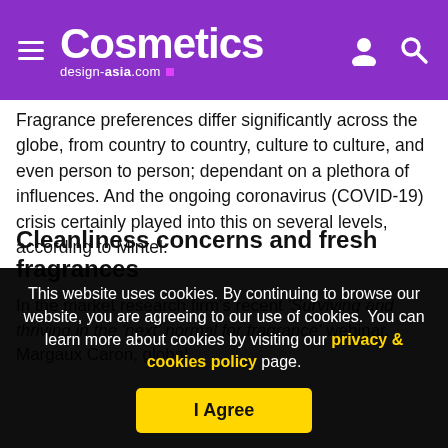Cosmetics design-asia.com
Fragrance preferences differ significantly across the globe, from country to country, culture to culture, and even person to person; dependant on a plethora of influences. And the ongoing coronavirus (COVID-19) crisis certainly played into this on several levels, according to Mintel.
Cleanliness concerns and fresh fragrances
In the market research firm’s recent ‘Surviving and thriving in the ‘next’ normal for fragrance’ webinar, Margaux Caron, global
This website uses cookies. By continuing to browse our website, you are agreeing to our use of cookies. You can learn more about cookies by visiting our privacy & cookies policy page.